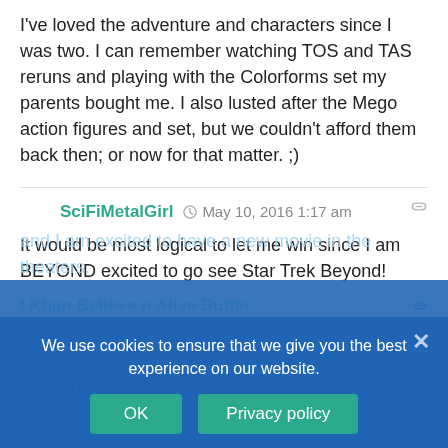I've loved the adventure and characters since I was two. I can remember watching TOS and TAS reruns and playing with the Colorforms set my parents bought me. I also lusted after the Mego action figures and set, but we couldn't afford them back then; or now for that matter. ;)
SciFiMetalGirl  May 10, 2016 1:17 am
It would be most logical to let me win since I am BEYOND excited to go see Star Trek Beyond!
DJT  May 10, 2016 2:15 am
I was raised on Star Trek. From TOS to TNG and Beyond and I am excited to have a new movie in the theaters.
I Khan Believe n Alive Butter  May 10, ...
Kind of funny (if not painfully obvious) that the first 3...
We use cookies to ensure that we give you the best experience on our website.